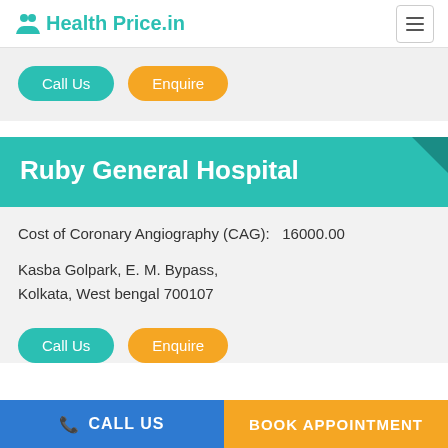Health Price.in
Call Us   Enquire
Ruby General Hospital
Cost of Coronary Angiography (CAG):    16000.00
Kasba Golpark, E. M. Bypass,
Kolkata, West bengal 700107
Call Us   Enquire
CALL US   BOOK APPOINTMENT